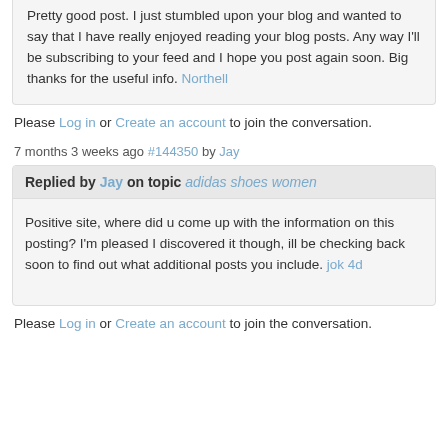Pretty good post. I just stumbled upon your blog and wanted to say that I have really enjoyed reading your blog posts. Any way I'll be subscribing to your feed and I hope you post again soon. Big thanks for the useful info. Northell
Please Log in or Create an account to join the conversation.
7 months 3 weeks ago #144350 by Jay
Replied by Jay on topic adidas shoes women
Positive site, where did u come up with the information on this posting? I'm pleased I discovered it though, ill be checking back soon to find out what additional posts you include. jok 4d
Please Log in or Create an account to join the conversation.